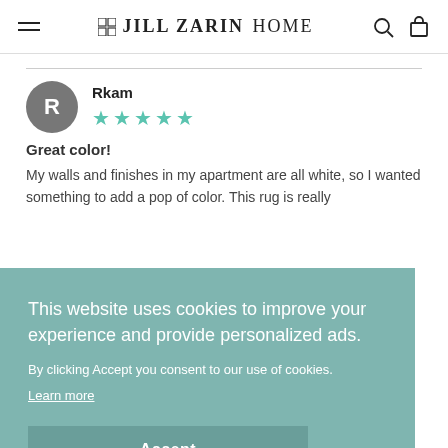JILL ZARIN HOME
Rkam
★★★★★
Great color!
My walls and finishes in my apartment are all white, so I wanted something to add a pop of color. This rug is really
This website uses cookies to improve your experience and provide personalized ads.
By clicking Accept you consent to our use of cookies.
Learn more
Accept
wanted and as pictured and described on line. The